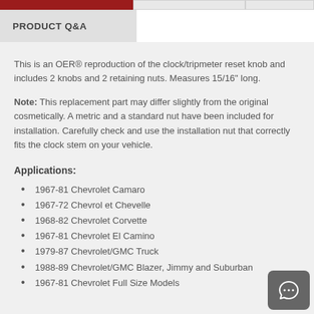PRODUCT Q&A
This is an OER® reproduction of the clock/tripmeter reset knob and includes 2 knobs and 2 retaining nuts. Measures 15/16" long.
Note: This replacement part may differ slightly from the original cosmetically. A metric and a standard nut have been included for installation. Carefully check and use the installation nut that correctly fits the clock stem on your vehicle.
Applications:
1967-81 Chevrolet Camaro
1967-72 Chevrol et Chevelle
1968-82 Chevrolet Corvette
1967-81 Chevrolet El Camino
1979-87 Chevrolet/GMC Truck
1988-89 Chevrolet/GMC Blazer, Jimmy and Suburban
1967-81 Chevrolet Full Size Models